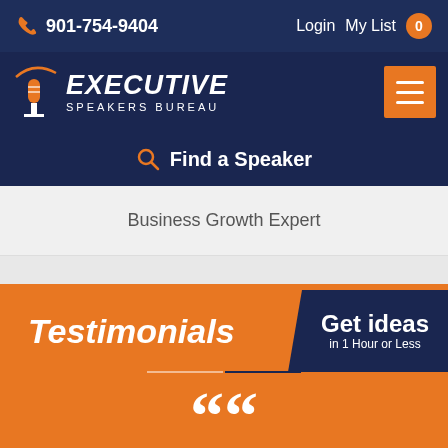901-754-9404   Login   My List 0
[Figure (logo): Executive Speakers Bureau logo with microphone icon and orange arc]
Find a Speaker
Business Growth Expert
Testimonials
Get ideas in 1 Hour or Less
““